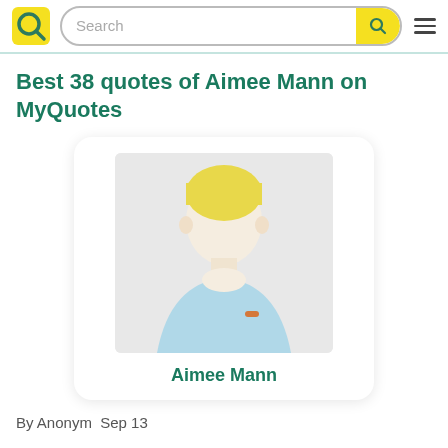Search — MyQuotes header with logo and navigation
Best 38 quotes of Aimee Mann on MyQuotes
[Figure (illustration): Generic user avatar illustration showing a person with blonde hair wearing a light blue shirt, inside a white card with rounded corners. Below the avatar is the name 'Aimee Mann' in teal/green bold text.]
By Anonym  Sep 13